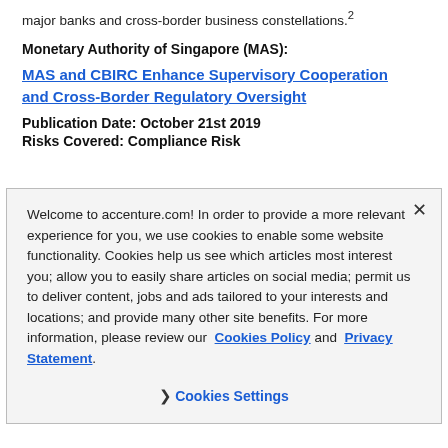major banks and cross-border business constellations.²
Monetary Authority of Singapore (MAS):
MAS and CBIRC Enhance Supervisory Cooperation and Cross-Border Regulatory Oversight
Publication Date: October 21st 2019
Risks Covered: Compliance Risk
Welcome to accenture.com! In order to provide a more relevant experience for you, we use cookies to enable some website functionality. Cookies help us see which articles most interest you; allow you to easily share articles on social media; permit us to deliver content, jobs and ads tailored to your interests and locations; and provide many other site benefits. For more information, please review our Cookies Policy and Privacy Statement.
Cookies Settings